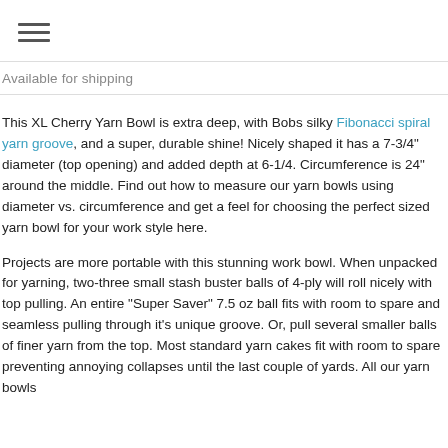≡
Available for shipping
This XL Cherry Yarn Bowl is extra deep, with Bobs silky Fibonacci spiral yarn groove, and a super, durable shine! Nicely shaped it has a 7-3/4" diameter (top opening) and added depth at 6-1/4. Circumference is 24" around the middle. Find out how to measure our yarn bowls using diameter vs. circumference and get a feel for choosing the perfect sized yarn bowl for your work style here.
Projects are more portable with this stunning work bowl. When unpacked for yarning, two-three small stash buster balls of 4-ply will roll nicely with top pulling. An entire "Super Saver" 7.5 oz ball fits with room to spare and seamless pulling through it's unique groove. Or, pull several smaller balls of finer yarn from the top. Most standard yarn cakes fit with room to spare preventing annoying collapses until the last couple of yards. All our yarn bowls